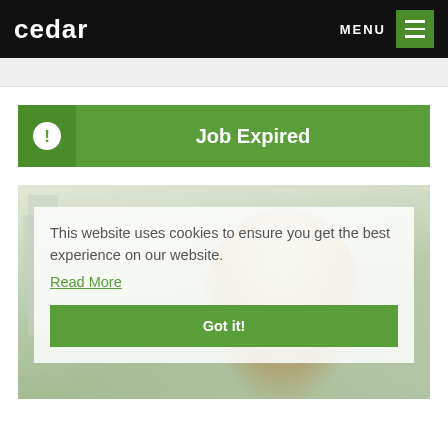cedar
MENU
Job Expired
This website uses cookies to ensure you get the best experience on our website.
Read More
Got it!
[Figure (photo): Blurred background photo of a smiling blonde woman outdoors with a cookie consent overlay box containing text and a 'Got it!' button]